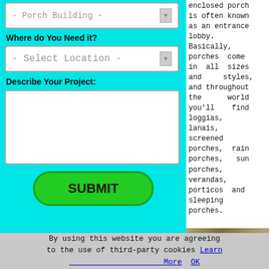[Figure (screenshot): Web form with cyan background showing porch building service. Contains dropdown for Porch Building, Where do You Need it? label with Select Location dropdown, Describe Your Project textarea, and green SUBMIT button.]
enclosed porch is often known as an entrance lobby. Basically, porches come in all sizes and styles, and throughout the world you'll find loggias, lanais, screened porches, rain porches, sun porches, verandas, porticos and sleeping porches.
If you're thinking about
By using this website you are agreeing to the use of third-party cookies Learn More  OK